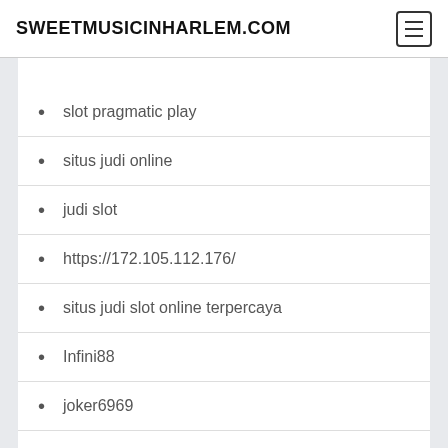SWEETMUSICINHARLEM.COM
slot pragmatic play
situs judi online
judi slot
https://172.105.112.176/
situs judi slot online terpercaya
Infini88
joker6969
joker123 login